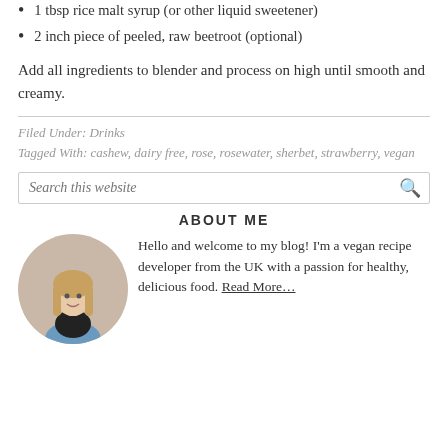1 tbsp rice malt syrup (or other liquid sweetener)
2 inch piece of peeled, raw beetroot (optional)
Add all ingredients to blender and process on high until smooth and creamy.
Filed Under: Drinks
Tagged With: cashew, dairy free, rose, rosewater, sherbet, strawberry, vegan
Search this website
ABOUT ME
Hello and welcome to my blog! I'm a vegan recipe developer from the UK with a passion for healthy, delicious food. Read More…
[Figure (photo): Circular portrait photo of a young woman with long blonde hair wearing a black shirt and denim dungarees, on a light beige background.]